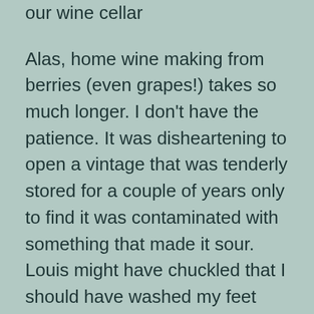our wine cellar
Alas, home wine making from berries (even grapes!) takes so much longer. I don't have the patience. It was disheartening to open a vintage that was tenderly stored for a couple of years only to find it was contaminated with something that made it sour. Louis might have chuckled that I should have washed my feet before trampling fruit.
But if a recipe goes wrong I blame myself, not the yeast. Humans have shared life with yeast cells for thousands of years in a cooperative relationship that ecologists might call